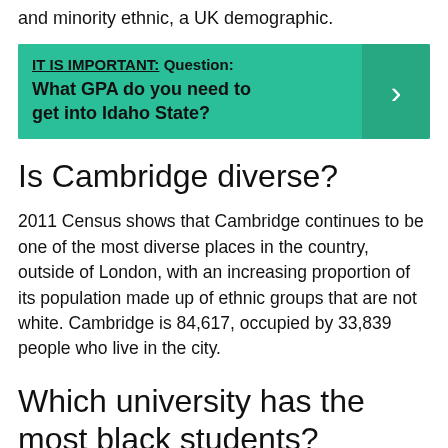and minority ethnic, a UK demographic.
IT IS IMPORTANT:  Question: What GPA do you need to get into Idaho State?
Is Cambridge diverse?
2011 Census shows that Cambridge continues to be one of the most diverse places in the country, outside of London, with an increasing proportion of its population made up of ethnic groups that are not white. Cambridge is 84,617, occupied by 33,839 people who live in the city.
Which university has the most black students?